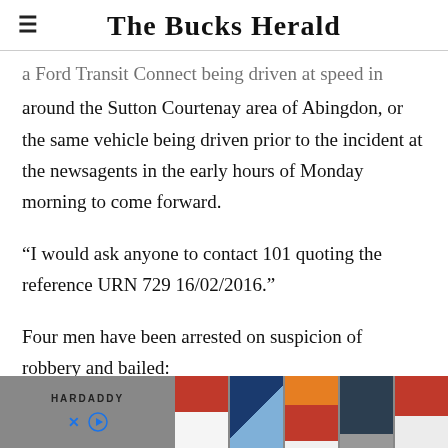The Bucks Herald
a Ford Transit Connect being driven at speed in around the Sutton Courtenay area of Abingdon, or the same vehicle being driven prior to the incident at the newsagents in the early hours of Monday morning to come forward.
“I would ask anyone to contact 101 quoting the reference URN 729 16/02/2016.”
Four men have been arrested on suspicion of robbery and bailed:
[Figure (other): Advertisement banner for HARDADDY showing colorful shirts on a grey background with brand name and skip/close controls]